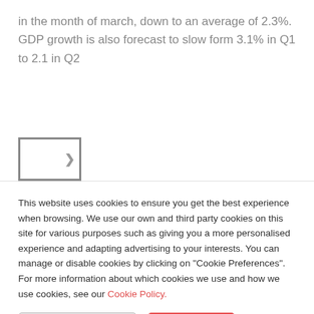in the month of march, down to an average of 2.3%. GDP growth is also forecast to slow form 3.1% in Q1 to 2.1 in Q2
[Figure (other): Partially visible thumbnail image with a grey border and a small arrow/chevron icon on the right side]
This website uses cookies to ensure you get the best experience when browsing. We use our own and third party cookies on this site for various purposes such as giving you a more personalised experience and adapting advertising to your interests. You can manage or disable cookies by clicking on "Cookie Preferences". For more information about which cookies we use and how we use cookies, see our Cookie Policy.
Cookie Preferences | Accept All